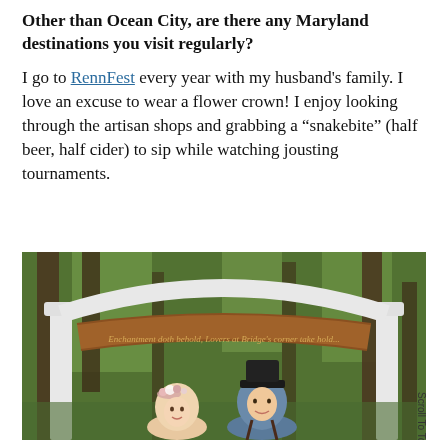Other than Ocean City, are there any Maryland destinations you visit regularly?
I go to RennFest every year with my husband's family. I love an excuse to wear a flower crown! I enjoy looking through the artisan shops and grabbing a "snakebite" (half beer, half cider) to sip while watching jousting tournaments.
[Figure (photo): A couple standing under a decorative white wooden arch with a carved wooden banner sign at the Maryland Renaissance Festival (RennFest). The woman is wearing a flower crown and the man is wearing a black hat and suspenders. They are surrounded by trees in the background.]